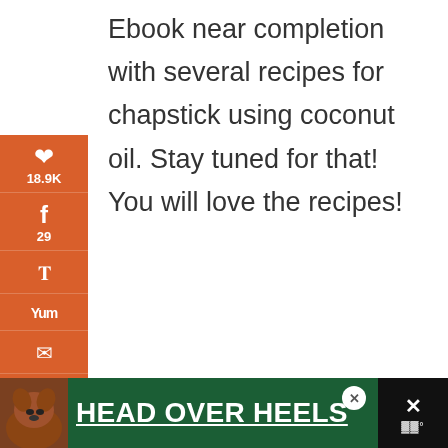[Figure (screenshot): Social sharing sidebar with orange background showing Pinterest (18.9K), Facebook (29), Twitter, Yummly, email, and print icons]
Ebook near completion with several recipes for chapstick using coconut oil. Stay tuned for that! You will love the recipes!
Reply
19.0K SHARES
[Figure (screenshot): Advertisement banner: HEAD OVER HEELS with dog image on dark green background with close button and X icon]